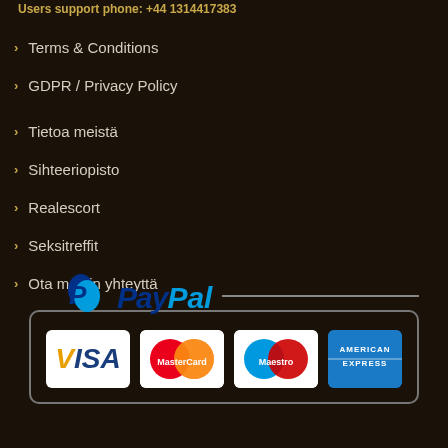Users support phone: +44 1314417383
Terms & Conditions
GDPR / Privacy Policy
Tietoa meistä
Sihteeriopisto
Realescort
Seksitreffit
Ota meihin yhteyttä
[Figure (infographic): Payment methods section showing PayPal logo above a bordered box containing VISA, MasterCard, Maestro, and American Express card logos]